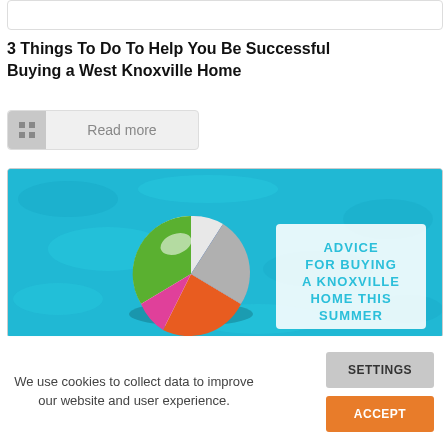3 Things To Do To Help You Be Successful Buying a West Knoxville Home
Read more
[Figure (photo): Beach ball floating in a pool with text overlay: ADVICE FOR BUYING A KNOXVILLE HOME THIS SUMMER]
We use cookies to collect data to improve our website and user experience.
SETTINGS
ACCEPT